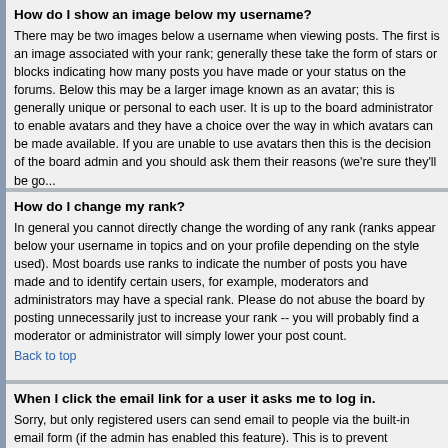How do I show an image below my username?
There may be two images below a username when viewing posts. The first is an image associated with your rank; generally these take the form of stars or blocks indicating how many posts you have made or your status on the forums. Below this may be a larger image known as an avatar; this is generally unique or personal to each user. It is up to the board administrator to enable avatars and they have a choice over the way in which avatars can be made available. If you are unable to use avatars then this is the decision of the board admin and you should ask them their reasons (we're sure they'll be go...
Back to top
How do I change my rank?
In general you cannot directly change the wording of any rank (ranks appear below your username in topics and on your profile depending on the style used). Most boards use ranks to indicate the number of posts you have made and to identify certain users, for example, moderators and administrators may have a special rank. Please do not abuse the board by posting unnecessarily just to increase your rank -- you will probably find a moderator or administrator will simply lower your post count.
Back to top
When I click the email link for a user it asks me to log in.
Sorry, but only registered users can send email to people via the built-in email form (if the admin has enabled this feature). This is to prevent malicious use of the email system by anonymous users.
Back to top